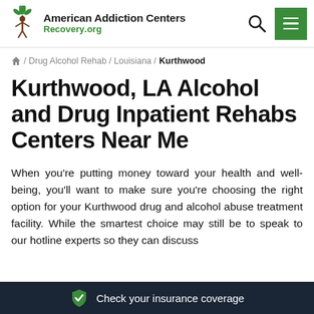American Addiction Centers Recovery.org
/ Drug Alcohol Rehab / Louisiana / Kurthwood
Kurthwood, LA Alcohol and Drug Inpatient Rehabs Centers Near Me
When you're putting money toward your health and well-being, you'll want to make sure you're choosing the right option for your Kurthwood drug and alcohol abuse treatment facility. While the smartest choice may still be to speak to our hotline experts so they can discuss
Check your insurance coverage